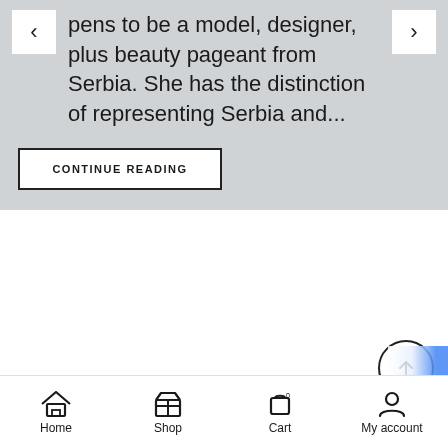pens to be a model, designer, plus beauty pageant from Serbia. She has the distinction of representing Serbia and...
CONTINUE READING
[Figure (logo): Dragana brand logo — stylized drop/D letter mark with DRAGANA wordmark below]
Home  Shop  Cart  My account